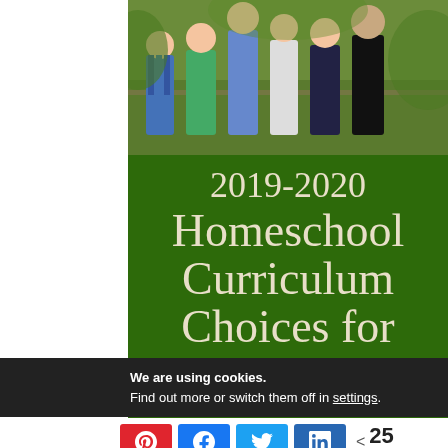[Figure (photo): Family group photo with mother and five children outdoors, green foliage background]
2019-2020 Homeschool Curriculum Choices for 6 Kids,
We are using cookies. Find out more or switch them off in settings.
< 25 SHARES (social share buttons: Pinterest, Facebook, Twitter, LinkedIn)